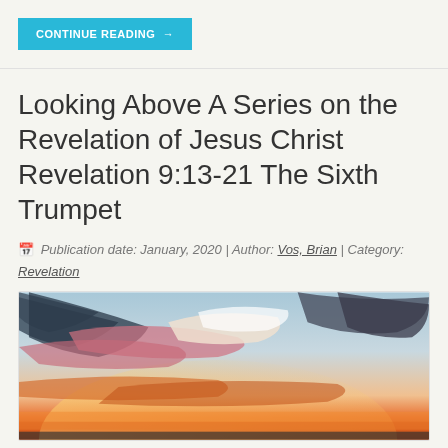CONTINUE READING →
Looking Above A Series on the Revelation of Jesus Christ Revelation 9:13-21 The Sixth Trumpet
Publication date: January, 2020 | Author: Vos, Brian | Category: Revelation
[Figure (photo): A dramatic sunset sky with orange, red, pink, and dark blue clouds with bright light on the horizon]